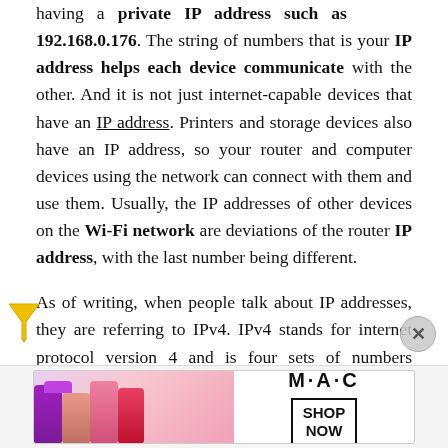having a private IP address such as 192.168.0.176. The string of numbers that is your IP address helps each device communicate with the other. And it is not just internet-capable devices that have an IP address. Printers and storage devices also have an IP address, so your router and computer devices using the network can connect with them and use them. Usually, the IP addresses of other devices on the Wi-Fi network are deviations of the router IP address, with the last number being different.
As of writing, when people talk about IP addresses, they are referring to IPv4. IPv4 stands for internet protocol version 4 and is four sets of numbers separated by a period, though it is not just any numbers. The IANA or Internet Assigned Numbers
[Figure (photo): MAC cosmetics advertisement banner showing colorful lipsticks with 'SHOP NOW' call to action button]